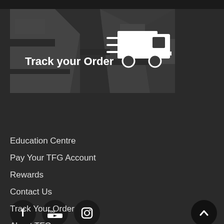[Figure (illustration): Banner with dark map background showing roads/streets, white truck delivery icon with speed lines on the right, and 'Track your Order' text on the left in white bold font.]
[Figure (infographic): Three circular social media icons in dark circles: Facebook (f), YouTube (You tube camera icon), Instagram (camera icon). A back-to-top arrow button circle on the far right.]
Education Centre
Pay Your TFG Account
Rewards
Contact Us
Track Your Order
About TFG
TFG Careers